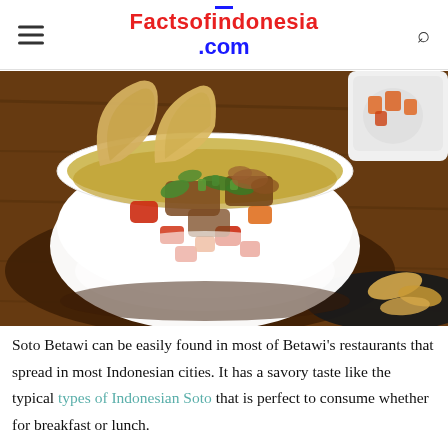Factsofindonesia.com
[Figure (photo): A white bowl filled with Soto Betawi soup containing meat, tomatoes, green onions, and vegetables, garnished with crackers/kerupuk, placed on a wooden board. A small white ramekin with vegetables and a black plate with crackers are visible in the background.]
Soto Betawi can be easily found in most of Betawi’s restaurants that spread in most Indonesian cities. It has a savory taste like the typical types of Indonesian Soto that is perfect to consume whether for breakfast or lunch.